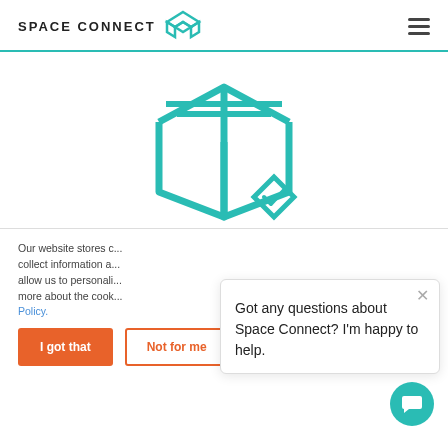SPACE CONNECT
[Figure (logo): Space Connect teal diamond/hexagon logo icon in header]
[Figure (illustration): Teal outline box/package icon in center of page with teal diamond checkmark icon to lower right]
Our website stores c... collect information a... allow us to personali... more about the cook... Policy.
Got any questions about Space Connect? I'm happy to help.
[Figure (illustration): Chat bubble button (teal circle with white speech bubble icon)]